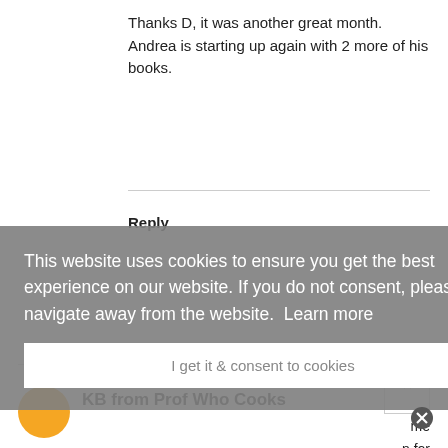Thanks D, it was another great month. Andrea is starting up again with 2 more of his books.
Reply
KB from Prof Who Cooks
This website uses cookies to ensure you get the best experience on our website. If you do not consent, please navigate away from the website.  Learn more
I get it & consent to cookies